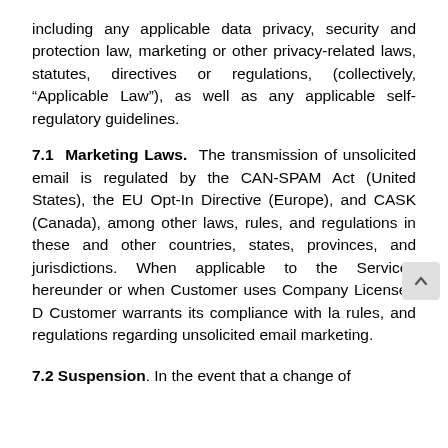including any applicable data privacy, security and protection law, marketing or other privacy-related laws, statutes, directives or regulations, (collectively, “Applicable Law”), as well as any applicable self-regulatory guidelines.
7.1 Marketing Laws. The transmission of unsolicited email is regulated by the CAN-SPAM Act (United States), the EU Opt-In Directive (Europe), and CASK (Canada), among other laws, rules, and regulations in these and other countries, states, provinces, and jurisdictions. When applicable to the Services hereunder or when Customer uses Company Licensed D... Customer warrants its compliance with la... rules, and regulations regarding unsolicited email marketing.
7.2 Suspension. In the event that a change of...